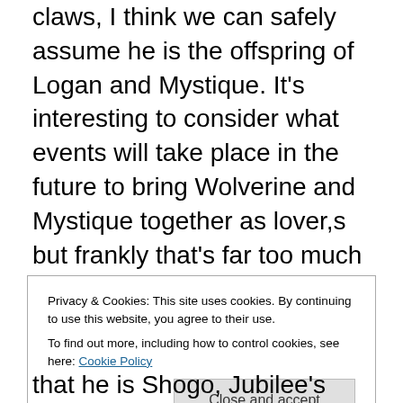claws, I think we can safely assume he is the offspring of Logan and Mystique. It's interesting to consider what events will take place in the future to bring Wolverine and Mystique together as lover,s but frankly that's far too much conjecture at this point. Additionally, who can say why this guy hates his dad so much. Again, we're operating in the realm of assumption here, but it seems likely that Mystique had some not-so-nice things to tell her son regarding his father. Still, the possibility that Logan is a deadbeat dad in the future is as plausible as his son being lied to by Mystique, so the motivations for this character are
Privacy & Cookies: This site uses cookies. By continuing to use this website, you agree to their use.
To find out more, including how to control cookies, see here: Cookie Policy
that he is Shogo, Jubilee's son. The greeting Jubilee